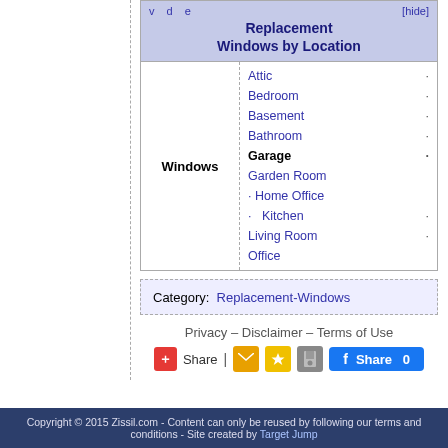| Windows | Locations |
| --- | --- |
| Windows | Attic |
|  | Bedroom |
|  | Basement |
|  | Bathroom |
|  | Garage |
|  | Garden Room |
|  | Home Office |
|  | Kitchen |
|  | Living Room |
|  | Office |
Category: Replacement-Windows
Privacy – Disclaimer – Terms of Use
Share | (email) (star) (save) fb Share 0
Copyright © 2015 Zissil.com - Content can only be reused by following our terms and conditions - Site created by Target Jump